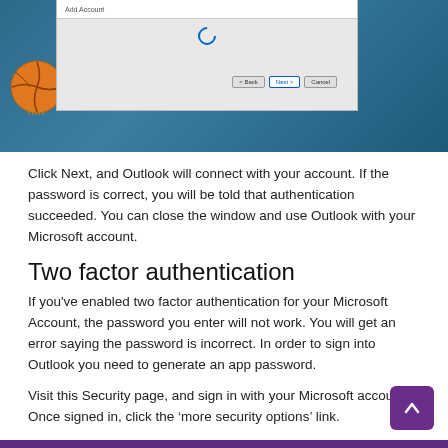[Figure (screenshot): Screenshot of an Outlook account setup dialog window with Back, Next, and Cancel buttons, shown over a background with a basketball and teal/dark blue color scheme.]
Click Next, and Outlook will connect with your account. If the password is correct, you will be told that authentication succeeded. You can close the window and use Outlook with your Microsoft account.
Two factor authentication
If you've enabled two factor authentication for your Microsoft Account, the password you enter will not work. You will get an error saying the password is incorrect. In order to sign into Outlook you need to generate an app password.
Visit this Security page, and sign in with your Microsoft account. Once signed in, click the ‘more security options’ link.